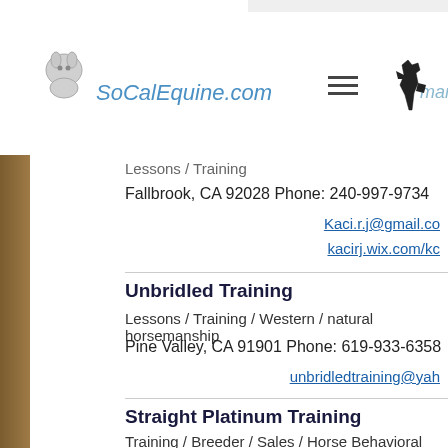SoCalEquine.com horsemanship
Lessons / Training
Fallbrook, CA 92028 Phone: 240-997-9734
Kaci.r.j@gmail.co
kacirj.wix.com/kc
Unbridled Training
Lessons / Training / Western / natural horsemanship
Pine Valley, CA 91901 Phone: 619-933-6358
unbridledtraining@yah
Straight Platinum Training
Training / Breeder / Sales / Horse Behavioral therapy
Jamul, CA 92115 Phone: 619-750-4994